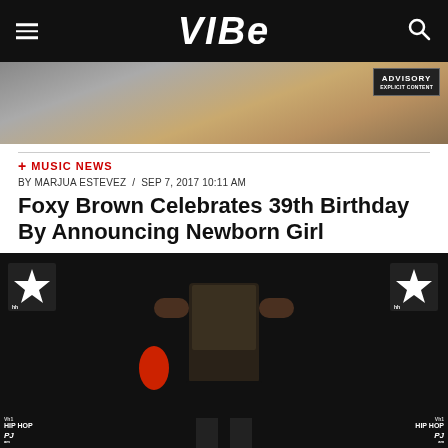VIBE
[Figure (photo): Partial photo visible at top, cropped, showing people with an Explicit Content advisory badge in the top right corner]
+ MUSIC NEWS
BY MARJUA ESTEVEZ / SEP 7, 2017 10:11 AM
Foxy Brown Celebrates 39th Birthday By Announcing Newborn Girl
[Figure (photo): Photo of Foxy Brown posing in a sequined/lace top and leather skirt with red gloves, in front of a Hip Hop backdrop with star logos]